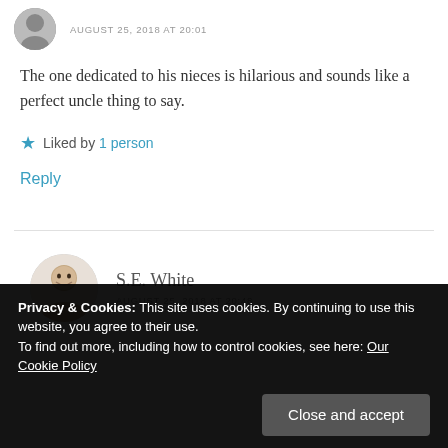AUGUST 25, 2018 AT 20:01
The one dedicated to his nieces is hilarious and sounds like a perfect uncle thing to say.
Liked by 1 person
Reply
S.E. White
AUGUST 25, 2018 AT 20:48
Privacy & Cookies: This site uses cookies. By continuing to use this website, you agree to their use.
To find out more, including how to control cookies, see here: Our Cookie Policy
Close and accept